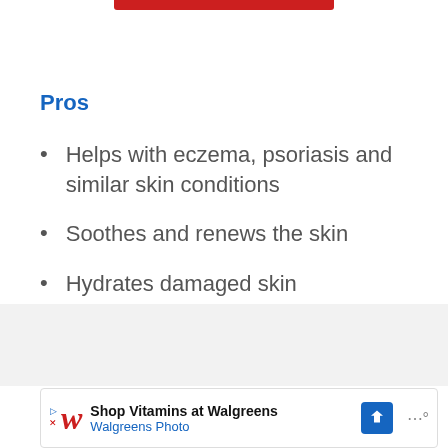Pros
Helps with eczema, psoriasis and similar skin conditions
Soothes and renews the skin
Hydrates damaged skin
Has a mild lavender scent
[Figure (other): Advertisement banner: Shop Vitamins at Walgreens - Walgreens Photo, with Walgreens logo and navigation icon]